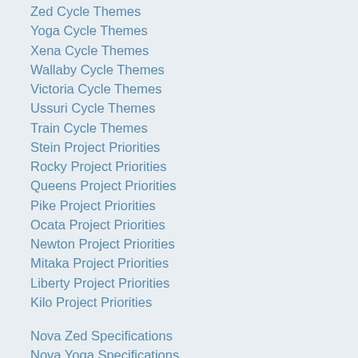Zed Cycle Themes
Yoga Cycle Themes
Xena Cycle Themes
Wallaby Cycle Themes
Victoria Cycle Themes
Ussuri Cycle Themes
Train Cycle Themes
Stein Project Priorities
Rocky Project Priorities
Queens Project Priorities
Pike Project Priorities
Ocata Project Priorities
Newton Project Priorities
Mitaka Project Priorities
Liberty Project Priorities
Kilo Project Priorities
Nova Zed Specifications
Nova Yoga Specifications
Nova Xena Specifications
Nova Wallaby Specifications
Nova Victoria Specifications
Nova Ussuri Specifications